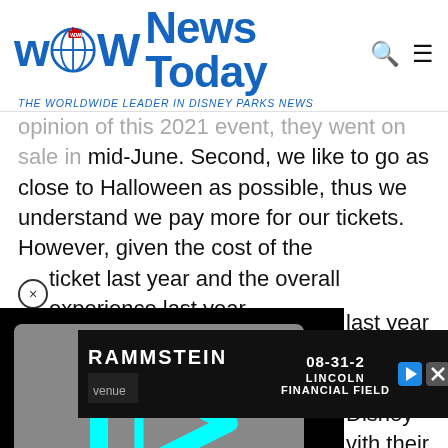WDW News Today — THE WORLDWIDE LEADER IN DISNEY PARKS NEWS
opinion of this 2021 event, they went on sale in mid-June. Second, we like to go as close to Halloween as possible, thus we understand we pay more for our tickets. However, given the cost of the ticket last year and the overall experience last year, last year we will idering Disney with their open and ng a full day's park ween stuff you can that way, plus shopping will be available.
[Figure (screenshot): Video player overlay with cyan play button icon on gray background surrounded by black bars]
[Figure (screenshot): Rammstein advertisement banner: '08-31-2 LINCOLN FINANCIAL FIELD']
Just t the